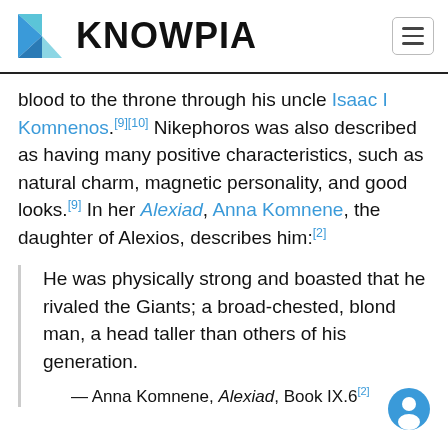KNOWPIA
blood to the throne through his uncle Isaac I Komnenos.[9][10] Nikephoros was also described as having many positive characteristics, such as natural charm, magnetic personality, and good looks.[9] In her Alexiad, Anna Komnene, the daughter of Alexios, describes him:[2]
He was physically strong and boasted that he rivaled the Giants; a broad-chested, blond man, a head taller than others of his generation.
— Anna Komnene, Alexiad, Book IX.6[2]